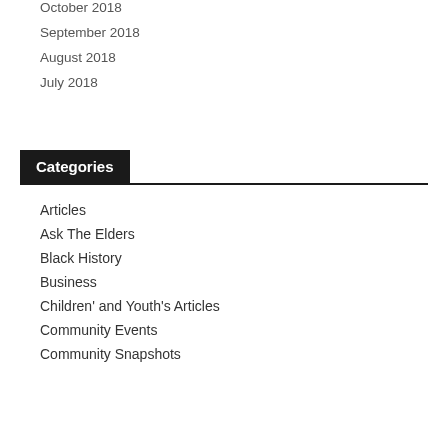October 2018
September 2018
August 2018
July 2018
Categories
Articles
Ask The Elders
Black History
Business
Children' and Youth's Articles
Community Events
Community Snapshots